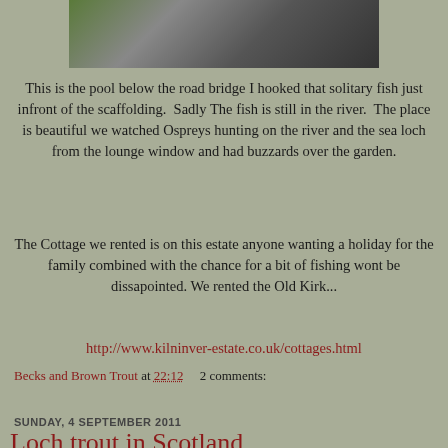[Figure (photo): Partial photo of a river pool scene, showing water, rocks and greenery, cropped at top of page]
This is the pool below the road bridge I hooked that solitary fish just infront of the scaffolding.  Sadly The fish is still in the river.  The place is beautiful we watched Ospreys hunting on the river and the sea loch from the lounge window and had buzzards over the garden.
The Cottage we rented is on this estate anyone wanting a holiday for the family combined with the chance for a bit of fishing wont be dissapointed. We rented the Old Kirk...
http://www.kilninver-estate.co.uk/cottages.html
Becks and Brown Trout at 22:12    2 comments:
Share
SUNDAY, 4 SEPTEMBER 2011
Loch trout in Scotland